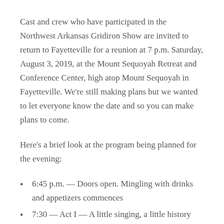Cast and crew who have participated in the Northwest Arkansas Gridiron Show are invited to return to Fayetteville for a reunion at 7 p.m. Saturday, August 3, 2019, at the Mount Sequoyah Retreat and Conference Center, high atop Mount Sequoyah in Fayetteville. We're still making plans but we wanted to let everyone know the date and so you can make plans to come.
Here's a brief look at the program being planned for the evening:
6:45 p.m. — Doors open. Mingling with drinks and appetizers commences
7:30 — Act I — A little singing, a little history and lots of laughs
7:50 — Heavy appetizers and conversations
8:30 — Act II — More songs, more MC, with more...